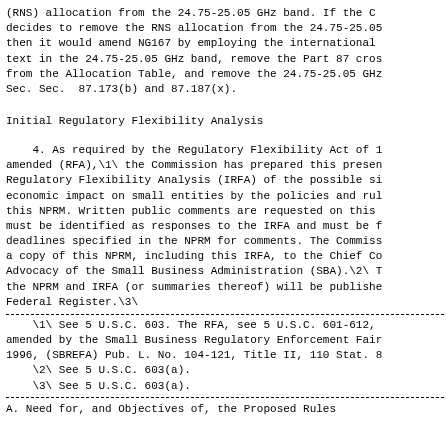(RNS) allocation from the 24.75-25.05 GHz band. If the C
decides to remove the RNS allocation from the 24.75-25.05
then it would amend NG167 by employing the international
text in the 24.75-25.05 GHz band, remove the Part 87 cros
from the Allocation Table, and remove the 24.75-25.05 GHz
Sec. Sec.  87.173(b) and 87.187(x).
Initial Regulatory Flexibility Analysis
4. As required by the Regulatory Flexibility Act of 1
amended (RFA),\1\ the Commission has prepared this presen
Regulatory Flexibility Analysis (IRFA) of the possible si
economic impact on small entities by the policies and rul
this NPRM. Written public comments are requested on this
must be identified as responses to the IRFA and must be f
deadlines specified in the NPRM for comments. The Commiss
a copy of this NPRM, including this IRFA, to the Chief Co
Advocacy of the Small Business Administration (SBA).\2\ T
the NPRM and IRFA (or summaries thereof) will be publishe
Federal Register.\3\
\1\ See 5 U.S.C. 603. The RFA, see 5 U.S.C. 601-612,
amended by the Small Business Regulatory Enforcement Fair
1996, (SBREFA) Pub. L. No. 104-121, Title II, 110 Stat. 8
    \2\ See 5 U.S.C. 603(a).
    \3\ See 5 U.S.C. 603(a).
A. Need for, and Objectives of, the Proposed Rules